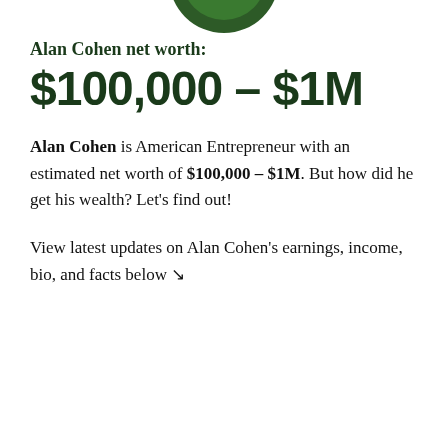[Figure (illustration): Partial circular logo/image at top center, dark green colored, partially cropped]
Alan Cohen net worth:
$100,000 – $1M
Alan Cohen is American Entrepreneur with an estimated net worth of $100,000 – $1M. But how did he get his wealth? Let's find out!
View latest updates on Alan Cohen's earnings, income, bio, and facts below ↘